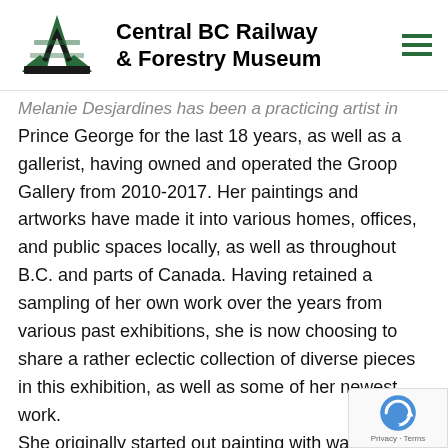[Figure (logo): Central BC Railway & Forestry Museum logo with green railway track graphic and bold text name, plus hamburger menu icon]
Melanie Desjardines has been a practicing artist in Prince George for the last 18 years, as well as a gallerist, having owned and operated the Groop Gallery from 2010-2017. Her paintings and artworks have made it into various homes, offices, and public spaces locally, as well as throughout B.C. and parts of Canada. Having retained a sampling of her own work over the years from various past exhibitions, she is now choosing to share a rather eclectic collection of diverse pieces in this exhibition, as well as some of her newest work. She originally started out painting with watercolors and